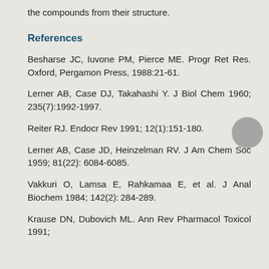the compounds from their structure.
References
Besharse JC, Iuvone PM, Pierce ME. Progr Ret Res. Oxford, Pergamon Press, 1988:21-61.
Lerner AB, Case DJ, Takahashi Y. J Biol Chem 1960; 235(7):1992-1997.
Reiter RJ. Endocr Rev 1991; 12(1):151-180.
Lerner AB, Case JD, Heinzelman RV. J Am Chem Soc 1959; 81(22): 6084-6085.
Vakkuri O, Lamsa E, Rahkamaa E, et al. J Anal Biochem 1984; 142(2): 284-289.
Krause DN, Dubovich ML. Ann Rev Pharmacol Toxicol 1991;